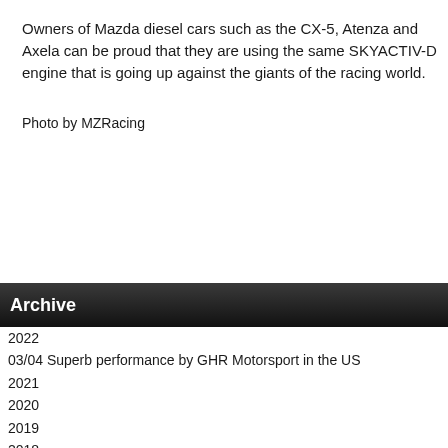Owners of Mazda diesel cars such as the CX-5, Atenza and Axela can be proud that they are using the same SKYACTIV-D engine that is going up against the giants of the racing world.
Photo by MZRacing
Archive
2022
03/04 Superb performance by GHR Motorsport in the US
2021
2020
2019
2018
2017